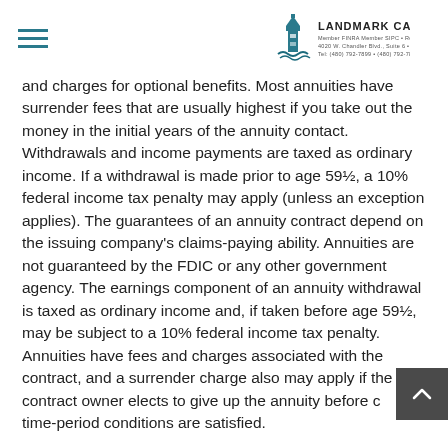Landmark Capital, Inc.
and charges for optional benefits. Most annuities have surrender fees that are usually highest if you take out the money in the initial years of the annuity contact. Withdrawals and income payments are taxed as ordinary income. If a withdrawal is made prior to age 59½, a 10% federal income tax penalty may apply (unless an exception applies). The guarantees of an annuity contract depend on the issuing company's claims-paying ability. Annuities are not guaranteed by the FDIC or any other government agency. The earnings component of an annuity withdrawal is taxed as ordinary income and, if taken before age 59½, may be subject to a 10% federal income tax penalty. Annuities have fees and charges associated with the contract, and a surrender charge also may apply if the contract owner elects to give up the annuity before certain time-period conditions are satisfied.